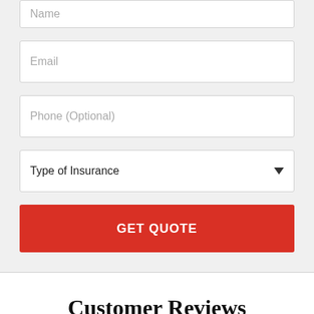Name
Email
Phone (Optional)
Type of Insurance
GET QUOTE
Customer Reviews